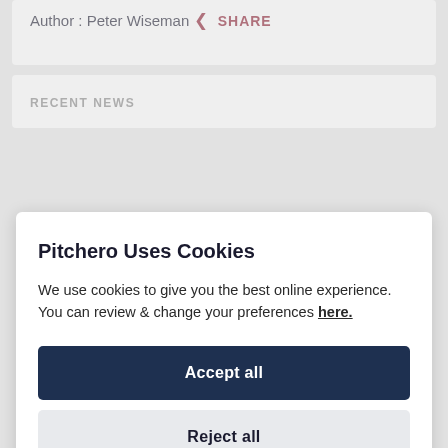Author : Peter Wiseman
< SHARE
RECENT NEWS
Pitchero Uses Cookies
We use cookies to give you the best online experience. You can review & change your preferences here.
Accept all
Reject all